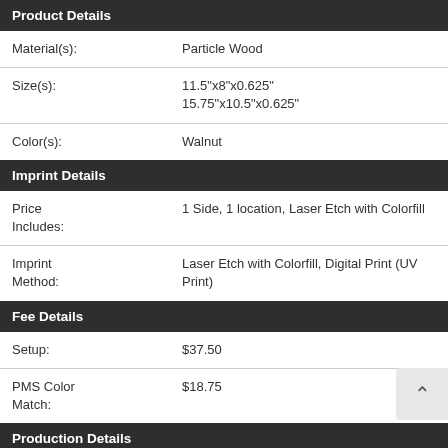Product Details
| Field | Value |
| --- | --- |
| Material(s): | Particle Wood |
| Size(s): | 11.5"x8"x0.625"
15.75"x10.5"x0.625" |
| Color(s): | Walnut |
Imprint Details
| Field | Value |
| --- | --- |
| Price Includes: | 1 Side, 1 location, Laser Etch with Colorfill |
| Imprint Method: | Laser Etch with Colorfill, Digital Print (UV Print) |
Fee Details
| Field | Value |
| --- | --- |
| Setup: | $37.50 |
| PMS Color Match: | $18.75 |
Production Details
Custom Products: 5-10 business days, exclud major holidays, after approval of the artwork.
Lead Time: